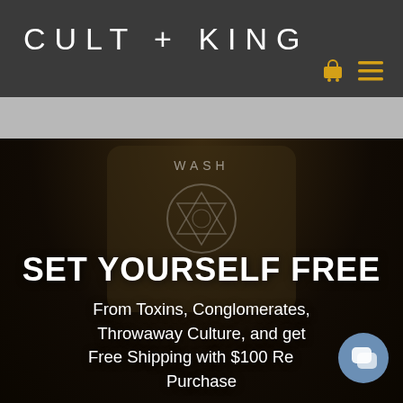CULT + KING
[Figure (screenshot): Product soap bar with 'WASH' text and circular emblem logo, dark background]
SET YOURSELF FREE
From Toxins, Conglomerates, Throwaway Culture, and get Free Shipping with $100 Re Purchase